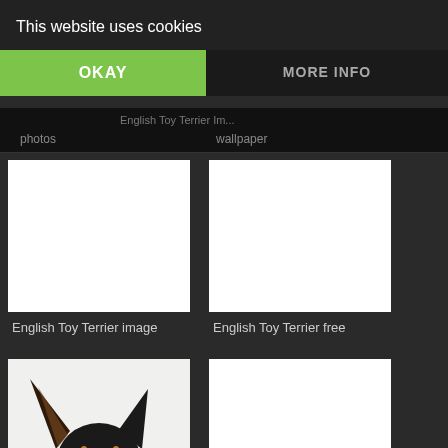This website uses cookies
OKAY
MORE INFO
photos
wallpaper
[Figure (photo): White blank image placeholder]
English Toy Terrier image
[Figure (photo): White blank image placeholder]
English Toy Terrier free
[Figure (photo): Close-up photo of a black and tan English Toy Terrier dog looking up, showing large ears and face on white background]
[Figure (photo): White blank image placeholder]